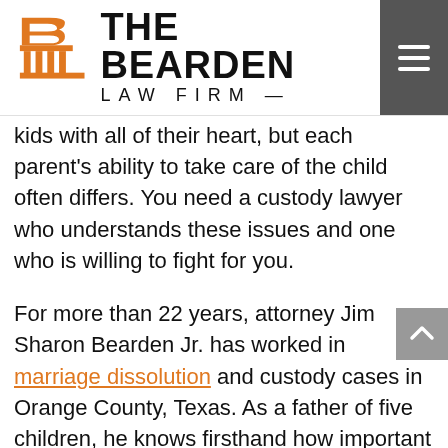[Figure (logo): The Bearden Law Firm logo — orange B with columns icon and firm name text]
kids with all of their heart, but each parent's ability to take care of the child often differs. You need a custody lawyer who understands these issues and one who is willing to fight for you.
For more than 22 years, attorney Jim Sharon Bearden Jr. has worked in marriage dissolution and custody cases in Orange County, Texas. As a father of five children, he knows firsthand how important it is to look after a child's welfare in all senses. Children also experience radical changes in their lives when their parents' divorce. At The Bearden